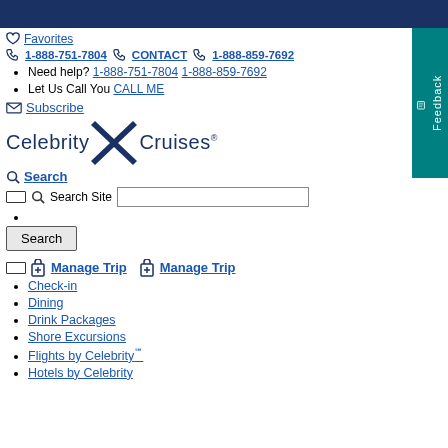Favorites
1-888-751-7804  CONTACT  1-888-859-7692
Need help? 1-888-751-7804 1-888-859-7692
Let Us Call You CALL ME
Subscribe
[Figure (logo): Celebrity X Cruises logo with large blue X]
Search
Search Site [input box]
Search [button]
Manage Trip  Manage Trip
Check-in
Dining
Drink Packages
Shore Excursions
Flights by Celebrity℠
Hotels by Celebrity